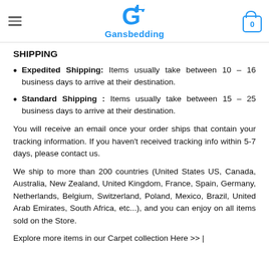Gansbedding
SHIPPING
Expedited Shipping: Items usually take between 10 – 16 business days to arrive at their destination.
Standard Shipping : Items usually take between 15 – 25 business days to arrive at their destination.
You will receive an email once your order ships that contain your tracking information. If you haven't received tracking info within 5-7 days, please contact us.
We ship to more than 200 countries (United States US, Canada, Australia, New Zealand, United Kingdom, France, Spain, Germany, Netherlands, Belgium, Switzerland, Poland, Mexico, Brazil, United Arab Emirates, South Africa, etc...), and you can enjoy on all items sold on the Store.
Explore more items in our Carpet collection Here >> |